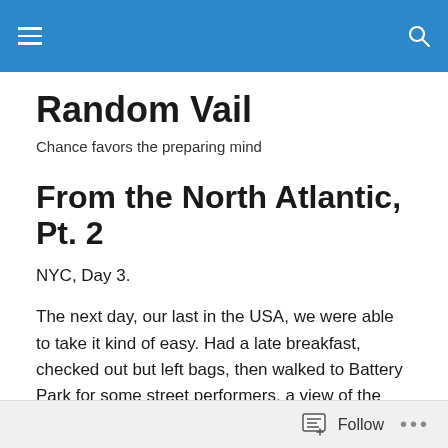Random Vail — site header navigation bar
Random Vail
Chance favors the preparing mind
From the North Atlantic, Pt. 2
NYC, Day 3.
The next day, our last in the USA, we were able to take it kind of easy. Had a late breakfast, checked out but left bags, then walked to Battery Park for some street performers, a view of the harbor (and our ship looming on the other side of Governor's Island), and a little meal. A
Follow ...